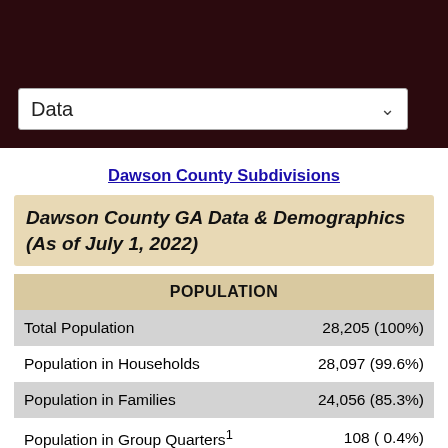Data [dropdown]
Dawson County Subdivisions
Dawson County GA Data & Demographics (As of July 1, 2022)
| POPULATION |  |
| --- | --- |
| Total Population | 28,205 (100%) |
| Population in Households | 28,097 (99.6%) |
| Population in Families | 24,056 (85.3%) |
| Population in Group Quarters¹ | 108 ( 0.4%) |